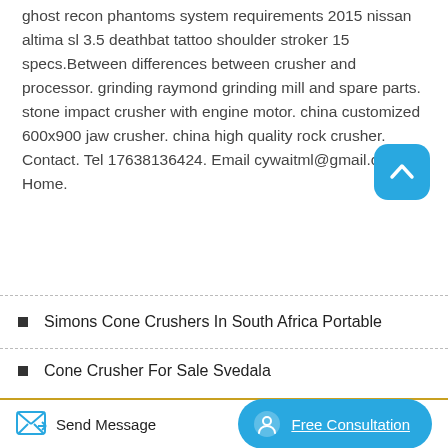ghost recon phantoms system requirements 2015 nissan altima sl 3.5 deathbat tattoo shoulder stroker 15 specs.Between differences between crusher and processor. grinding raymond grinding mill and spare parts. stone impact crusher with engine motor. china customized 600x900 jaw crusher. china high quality rock crusher. Contact. Tel 17638136424. Email cywaitml@gmail.com. Home.
Simons Cone Crushers In South Africa Portable
Cone Crusher For Sale Svedala
Send Message
Free Consultation